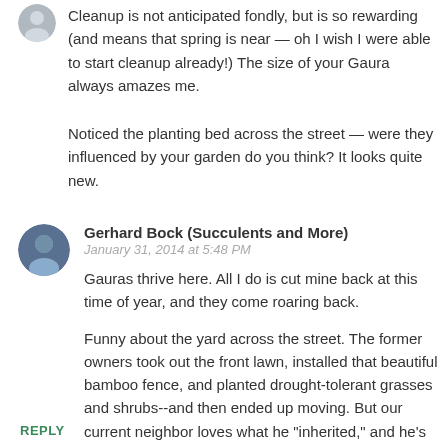Cleanup is not anticipated fondly, but is so rewarding (and means that spring is near — oh I wish I were able to start cleanup already!) The size of your Gaura always amazes me.
Noticed the planting bed across the street — were they influenced by your garden do you think? It looks quite new.
Gerhard Bock (Succulents and More)
January 31, 2014 at 5:48 PM
Gauras thrive here. All I do is cut mine back at this time of year, and they come roaring back.
Funny about the yard across the street. The former owners took out the front lawn, installed that beautiful bamboo fence, and planted drought-tolerant grasses and shrubs--and then ended up moving. But our current neighbor loves what he "inherited," and he's taking good care of it.
REPLY